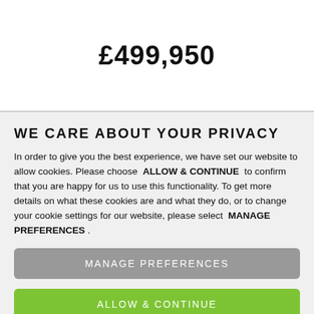£499,950
WE CARE ABOUT YOUR PRIVACY
In order to give you the best experience, we have set our website to allow cookies. Please choose ALLOW & CONTINUE to confirm that you are happy for us to use this functionality. To get more details on what these cookies are and what they do, or to change your cookie settings for our website, please select MANAGE PREFERENCES .
MANAGE PREFERENCES
ALLOW & CONTINUE